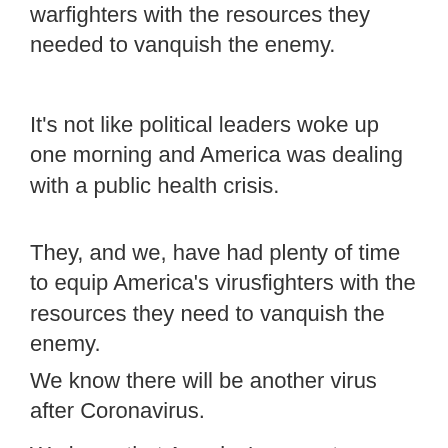warfighters with the resources they needed to vanquish the enemy.
It's not like political leaders woke up one morning and America was dealing with a public health crisis.
They, and we, have had plenty of time to equip America's virusfighters with the resources they need to vanquish the enemy.
We know there will be another virus after Coronavirus.
We know that America's current capacity to respond to that virus and public health